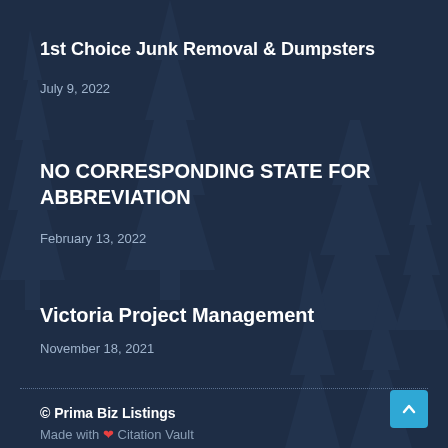1st Choice Junk Removal & Dumpsters
July 9, 2022
NO CORRESPONDING STATE FOR ABBREVIATION
February 13, 2022
Victoria Project Management
November 18, 2021
© Prima Biz Listings
Made with ❤ Citation Vault